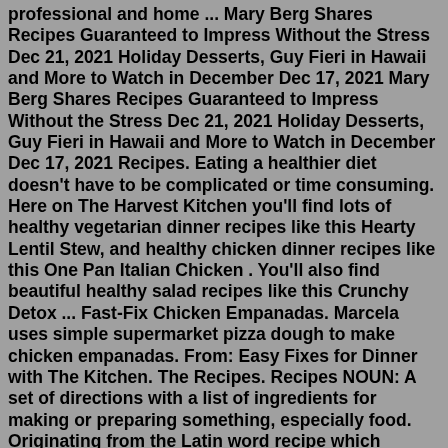professional and home ... Mary Berg Shares Recipes Guaranteed to Impress Without the Stress Dec 21, 2021 Holiday Desserts, Guy Fieri in Hawaii and More to Watch in December Dec 17, 2021 Mary Berg Shares Recipes Guaranteed to Impress Without the Stress Dec 21, 2021 Holiday Desserts, Guy Fieri in Hawaii and More to Watch in December Dec 17, 2021 Recipes. Eating a healthier diet doesn't have to be complicated or time consuming. Here on The Harvest Kitchen you'll find lots of healthy vegetarian dinner recipes like this Hearty Lentil Stew, and healthy chicken dinner recipes like this One Pan Italian Chicken . You'll also find beautiful healthy salad recipes like this Crunchy Detox ... Fast-Fix Chicken Empanadas. Marcela uses simple supermarket pizza dough to make chicken empanadas. From: Easy Fixes for Dinner with The Kitchen. The Recipes. Recipes NOUN: A set of directions with a list of ingredients for making or preparing something, especially food. Originating from the Latin word recipe which means to "take back", i.e. an instruction to take the listed